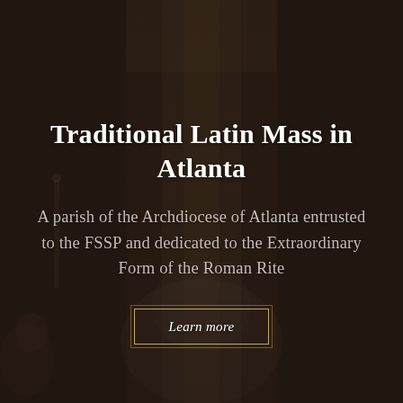[Figure (photo): Church interior background photo showing an altar area with ornate decorations, a priest or figure in white vestments in the foreground, and golden/cream architectural details. The image is darkened with an overlay.]
Traditional Latin Mass in Atlanta
A parish of the Archdiocese of Atlanta entrusted to the FSSP and dedicated to the Extraordinary Form of the Roman Rite
Learn more